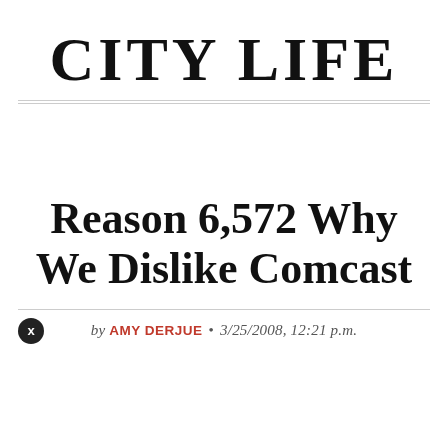CITY LIFE
Reason 6,572 Why We Dislike Comcast
by AMY DERJUE • 3/25/2008, 12:21 p.m.